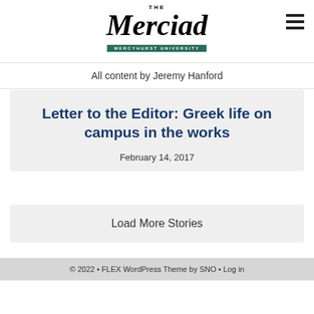[Figure (logo): The Merciad — Mercyhurst University newspaper logo with italic script wordmark and green subtitle banner]
All content by Jeremy Hanford
Letter to the Editor: Greek life on campus in the works
February 14, 2017
Load More Stories
© 2022 • FLEX WordPress Theme by SNO • Log in